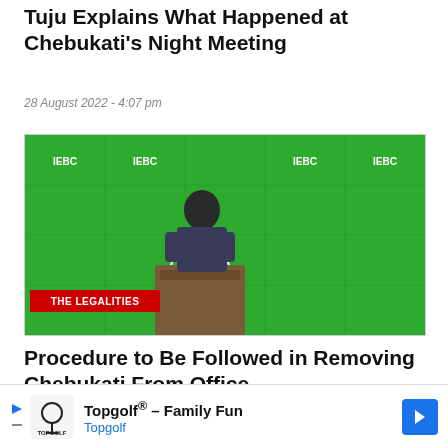Tuju Explains What Happened at Chebukati's Night Meeting
28 August 2022 - 4:07 pm
[Figure (photo): Man in dark suit speaking at an IEBC podium against a green IEBC-branded backdrop, with a red label overlay reading THE LEGALITIES]
Procedure to Be Followed in Removing Chebukati From Office
28 August 2022 - 4:47 pm
[Figure (photo): Partial photo of a man against a light yellow background, cropped]
Topgolf® – Family Fun
Topgolf